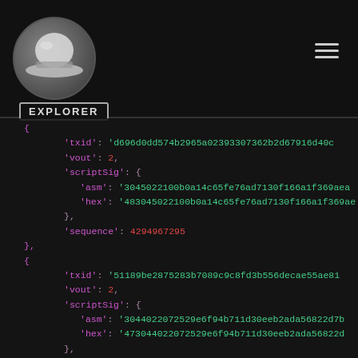[Figure (logo): Silk hat logo in circle on dark header bar with EXPLORER label and hamburger menu]
{ 'txid': 'd696d0dd574b2965a02393307362b2d67916d40c... 'vout': 2, 'scriptSig': { 'asm': '3045022100b0a14c65fe76ad7130f166a1f369aea... 'hex': '483045022100b0a14c65fe76ad7130f166a1f369ae... }, 'sequence': 4294967295 }, { 'txid': '51189be2875283b7089c9c8fd3b556decae55ae81... 'vout': 2, 'scriptSig': { 'asm': '3044022072529e6f94b711d30eeb2ada56822d7b... 'hex': '47304402207 2529e6f94b711d30eeb2ada56822d... }, 'sequence': 4294967295 }, { 'txid': '11e3ee9076e27eef19aacdaed78d5c89052e9f6b48e... 'vout': 2, 'scriptSig': {